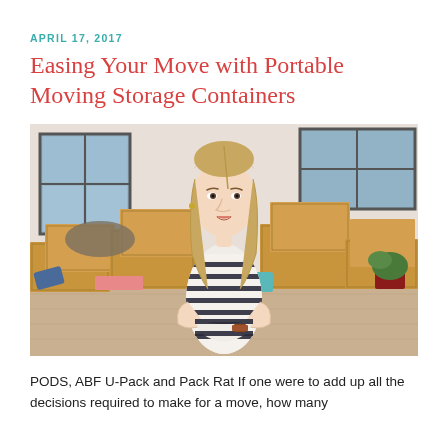APRIL 17, 2017
Easing Your Move with Portable Moving Storage Containers
[Figure (photo): Young woman with arms crossed standing in front of stacked cardboard moving boxes in an apartment room with hardwood floors and large windows]
PODS, ABF U-Pack and Pack Rat If one were to add up all the decisions required to make for a move, how many